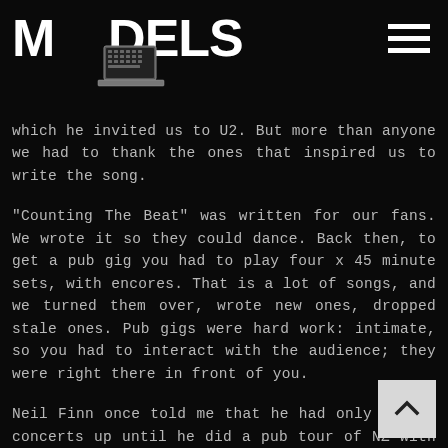MODELS
which he invited us to U2. But more than anyone we had to thank the ones that inspired us to write the song.
"Counting The Beat" was written for our fans. We wrote it so they could dance. Back then, to get a pub gig you had to play four x 45 minute sets, with encores. That is a lot of songs, and we turned them over, wrote new ones, dropped stale ones. Pub gigs were hard work: intimate, so you had to interact with the audience; they were right there in front of you.
Neil Finn once told me that he had only played concerts up until he did a pub tour of NZ with Dave Dobbyn, and his opening remark "I have never played in a pub before" was greeted with a lone but booming: "Well fuck